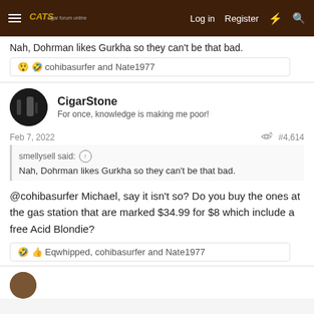CATS forum — Log in | Register
Nah, Dohrman likes Gurkha so they can't be that bad.
😲 🤣 cohibasurfer and Nate1977
CigarStone — For once, knowledge is making me poor!
Feb 7, 2022   #4,614
smellysell said: ↑
Nah, Dohrman likes Gurkha so they can't be that bad.
@cohibasurfer Michael, say it isn't so? Do you buy the ones at the gas station that are marked $34.99 for $8 which include a free Acid Blondie?
🤣 👍 Eqwhipped, cohibasurfer and Nate1977